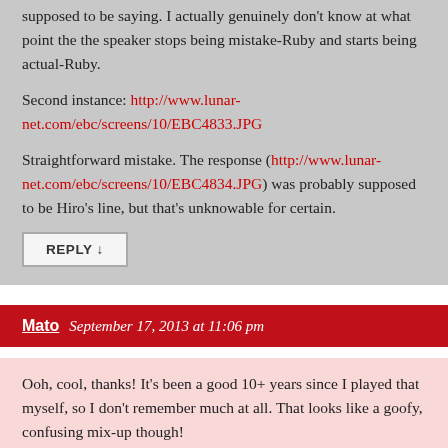supposed to be saying. I actually genuinely don't know at what point the the speaker stops being mistake-Ruby and starts being actual-Ruby.
Second instance: http://www.lunar-net.com/ebc/screens/10/EBC4833.JPG
Straightforward mistake. The response (http://www.lunar-net.com/ebc/screens/10/EBC4834.JPG) was probably supposed to be Hiro's line, but that's unknowable for certain.
REPLY ↓
Mato   September 17, 2013 at 11:06 pm
Ooh, cool, thanks! It's been a good 10+ years since I played that myself, so I don't remember much at all. That looks like a goofy, confusing mix-up though!